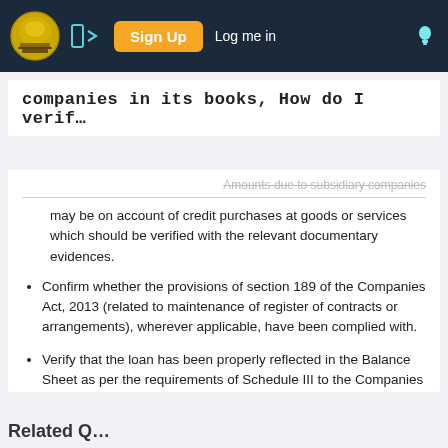Sign Up | Log me in
companies in its books, How do I verif…
Amounts due to subsidiary companies may be on account of credit purchases at goods or services which should be verified with the relevant documentary evidences.
Confirm whether the provisions of section 189 of the Companies Act, 2013 (related to maintenance of register of contracts or arrangements), wherever applicable, have been complied with.
Verify that the loan has been properly reflected in the Balance Sheet as per the requirements of Schedule III to the Companies Act, 2013.
Related Q…